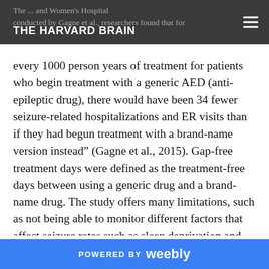THE HARVARD BRAIN
The ... and Women's Hospital conducted by Gagne et al., researchers found that for every 1000 person years of treatment for patients who begin treatment with a generic AED (anti-epileptic drug), there would have been 34 fewer seizure-related hospitalizations and ER visits than if they had begun treatment with a brand-name version instead” (Gagne et al., 2015). Gap-free treatment days were defined as the treatment-free days between using a generic drug and a brand-name drug. The study offers many limitations, such as not being able to monitor different factors that affect seizure rates such as sleep deprivation and alcohol or drug use. In addition, the study only looks at older patients, so they do not get a sense of diverse epileptic activity over a variety of age groups. This study is significant because it is looking at how generic and brand-name anti-epileptic drugs affect the frequency in
POWERED BY weebly